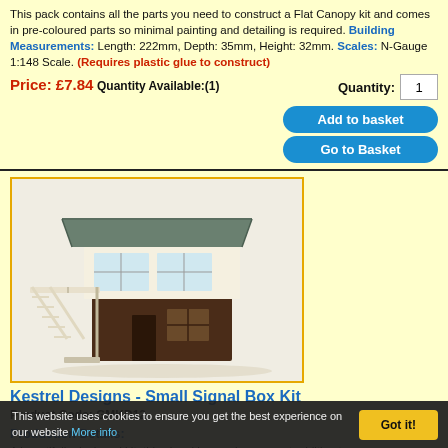This pack contains all the parts you need to construct a Flat Canopy kit and comes in pre-coloured parts so minimal painting and detailing is required. Building Measurements: Length: 222mm, Depth: 35mm, Height: 32mm. Scales: N-Gauge 1:148 Scale. (Requires plastic glue to construct)
Price: £7.84 Quantity Available:(1) Quantity: 1 [Add to basket] [Go to Basket]
[Figure (photo): A model signal box kit - small two-storey building with dark brown lower level, cream upper level with windows, grey pitched roof, and external staircase with railings.]
Kestrel Designs - Small Signal Box Kit
Product Code: GMKD12
Production Details:
A beautifully designed kit, this signal box makes a great addition to any
This website uses cookies to ensure you get the best experience on our website More info Got it!